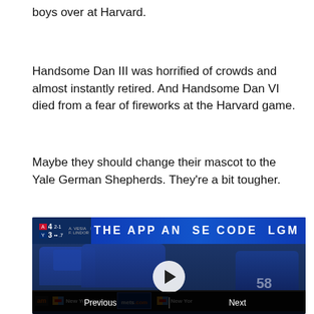boys over at Harvard.
Handsome Dan III was horrified of crowds and almost instantly retired. And Handsome Dan VI died from a fear of fireworks at the Harvard game.
Maybe they should change their mascot to the Yale German Shepherds. They're a bit tougher.
[Figure (screenshot): A baseball game video thumbnail showing players in the dugout, with a scoreboard banner reading 'THE APP AND USE CODE LGM', sponsor bar showing New York Lottery and mets.com, a play button overlay, and a Previous/Next navigation bar at the bottom.]